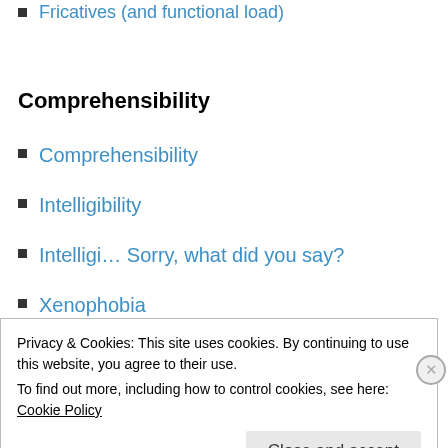Fricatives (and functional load)
Comprehensibility
Comprehensibility
Intelligibility
Intelligi… Sorry, what did you say?
Xenophobia
Privacy & Cookies: This site uses cookies. By continuing to use this website, you agree to their use.
To find out more, including how to control cookies, see here: Cookie Policy